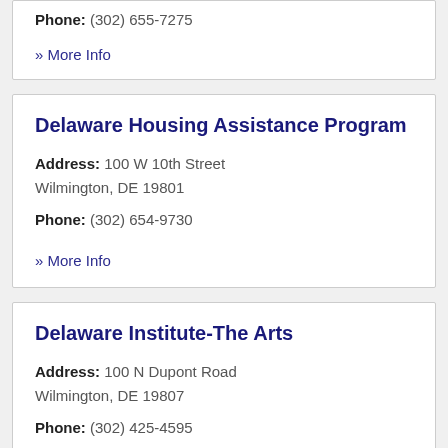Phone: (302) 655-7275
» More Info
Delaware Housing Assistance Program
Address: 100 W 10th Street Wilmington, DE 19801
Phone: (302) 654-9730
» More Info
Delaware Institute-The Arts
Address: 100 N Dupont Road Wilmington, DE 19807
Phone: (302) 425-4595